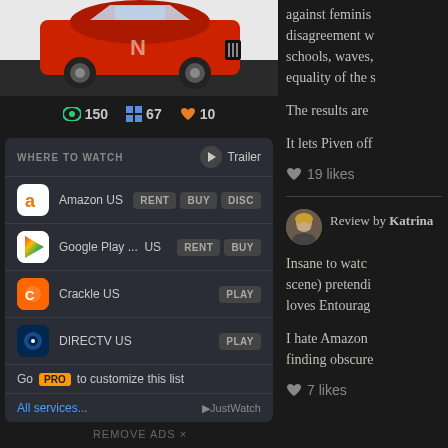[Figure (photo): Red/orange sports car (muscle car) partially visible at top of left column]
👁 150  ⊞ 67  ♥ 10
WHERE TO WATCH  ▶ Trailer
Amazon US  RENT  BUY  DISC
Google Play ...  US  RENT  BUY
Crackle US  PLAY
DIRECTV US  PLAY
Go PRO to customize this list
All services...  ▶JustWatch
REMOVE ADS ×
against feminis disagreement w schools, waves, equality of the s
The results are
It lets Piven off
♥ 19 likes
Review by Katrina
[Figure (photo): Reviewer profile photo - woman with blonde hair]
Insane to watch scene) pretendi loves Entourage
I hate Amazon finding obscure
♥ 7 likes